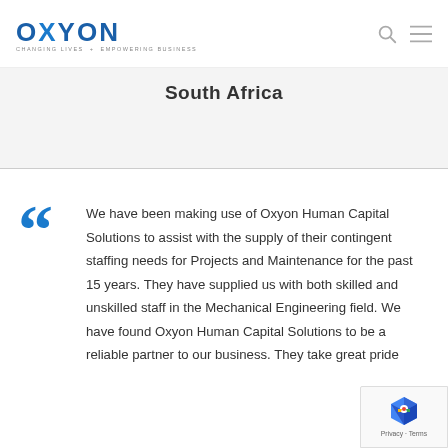OXYON — CHANGING LIVES · EMPOWERING BUSINESS
South Africa
We have been making use of Oxyon Human Capital Solutions to assist with the supply of their contingent staffing needs for Projects and Maintenance for the past 15 years. They have supplied us with both skilled and unskilled staff in the Mechanical Engineering field. We have found Oxyon Human Capital Solutions to be a reliable partner to our business. They take great pride